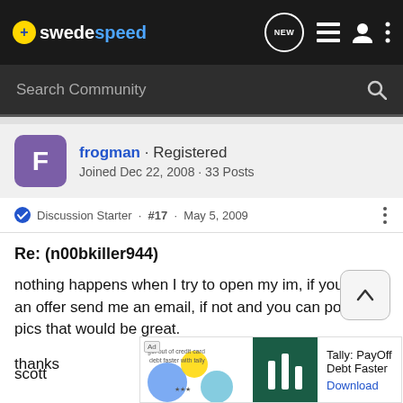swedespeed
Search Community
frogman · Registered
Joined Dec 22, 2008 · 33 Posts
Discussion Starter · #17 · May 5, 2009
Re: (n00bkiller944)
nothing happens when I try to open my im, if you have an offer send me an email, if not and you can post my pics that would be great.

thanks

scott
[Figure (screenshot): Tally: PayOff Debt Faster advertisement banner]